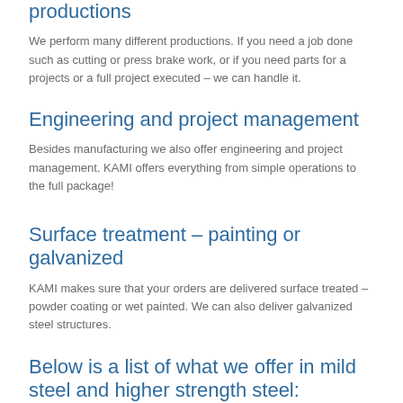productions
We perform many different productions. If you need a job done such as cutting or press brake work, or if you need parts for a projects or a full project executed – we can handle it.
Engineering and project management
Besides manufacturing we also offer engineering and project management. KAMI offers everything from simple operations to the full package!
Surface treatment – painting or galvanized
KAMI makes sure that your orders are delivered surface treated – powder coating or wet painted. We can also deliver galvanized steel structures.
Below is a list of what we offer in mild steel and higher strength steel: